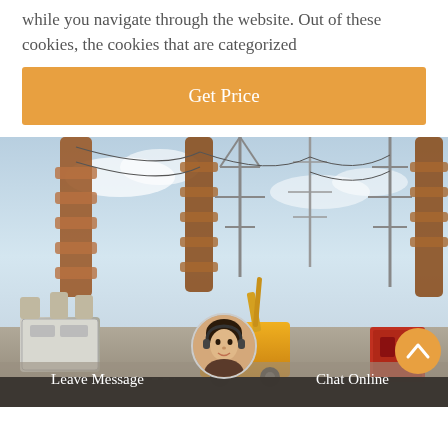while you navigate through the website. Out of these cookies, the cookies that are categorized
[Figure (other): Orange 'Get Price' button]
[Figure (photo): Electrical substation with high-voltage equipment, power transmission towers, and a yellow utility truck on a sunny day]
Leave Message
Chat Online